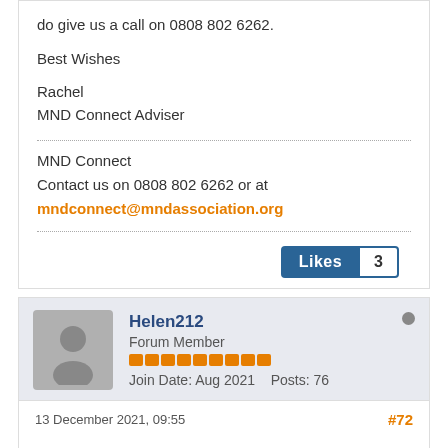do give us a call on 0808 802 6262.
Best Wishes
Rachel
MND Connect Adviser
MND Connect
Contact us on 0808 802 6262 or at
mndconnect@mndassociation.org
Likes 3
Helen212
Forum Member
Join Date: Aug 2021   Posts: 76
13 December 2021, 09:55   #72
I apologise for offending anyone on here.